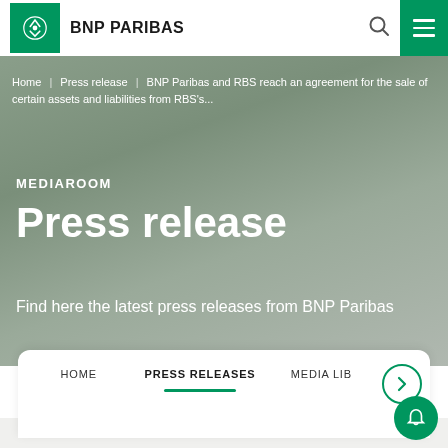BNP PARIBAS
Home | Press release | BNP Paribas and RBS reach an agreement for the sale of certain assets and liabilities from RBS's...
MEDIAROOM
Press release
Find here the latest press releases from BNP Paribas
HOME    PRESS RELEASES    MEDIA LIB